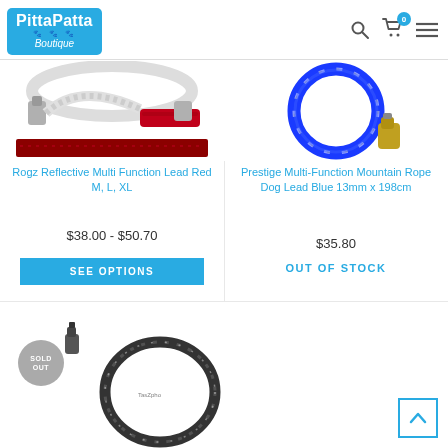[Figure (screenshot): PittaPatta Boutique website header with logo, search icon, cart icon with badge '0', and hamburger menu]
[Figure (photo): Rogz Reflective Multi Function Lead Red M, L, XL - dog lead with clip and red handle, plus red leash swatch]
Rogz Reflective Multi Function Lead Red M, L, XL
$38.00 - $50.70
SEE OPTIONS
[Figure (photo): Prestige Multi-Function Mountain Rope Dog Lead Blue 13mm x 198cm - blue rope coiled with clip]
Prestige Multi-Function Mountain Rope Dog Lead Blue 13mm x 198cm
$35.80
OUT OF STOCK
[Figure (photo): Third dog lead product - black/grey rope lead coiled, with SOLD OUT badge overlay]
[Figure (other): Back to top arrow button - blue bordered square with upward chevron]